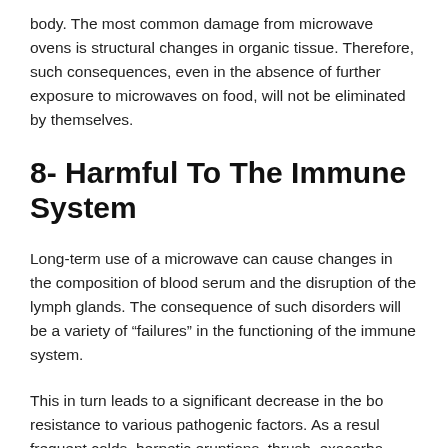body. The most common damage from microwave ovens is structural changes in organic tissue. Therefore, such consequences, even in the absence of further exposure to microwaves on food, will not be eliminated by themselves.
8- Harmful To The Immune System
Long-term use of a microwave can cause changes in the composition of blood serum and the disruption of the lymph glands. The consequence of such disorders will be a variety of “failures” in the functioning of the immune system.
This in turn leads to a significant decrease in the body resistance to various pathogenic factors. As a result, frequent colds, herpetic eruptions, thrush, exacerbation of chronic inflammatory diseases, etc. can be observed.